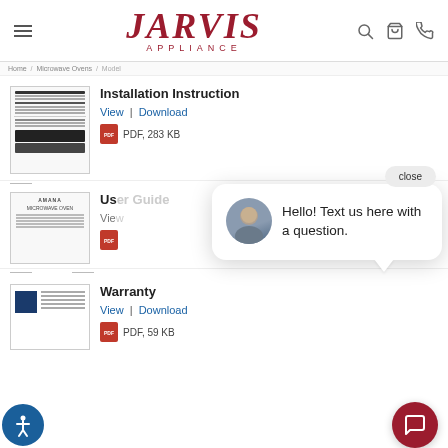JARVIS APPLIANCE
Installation Instruction
View | Download
PDF, 283 KB
User Guide
View | Download
PDF
Hello! Text us here with a question.
close
Warranty
View | Download
PDF, 59 KB